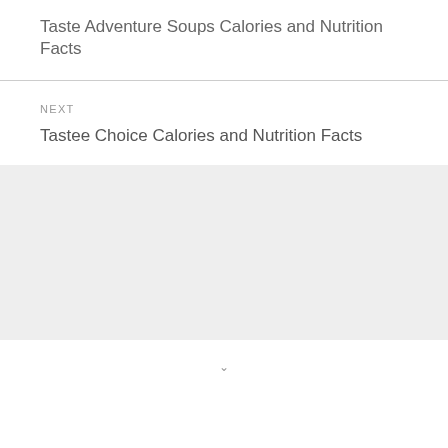Taste Adventure Soups Calories and Nutrition Facts
NEXT
Tastee Choice Calories and Nutrition Facts